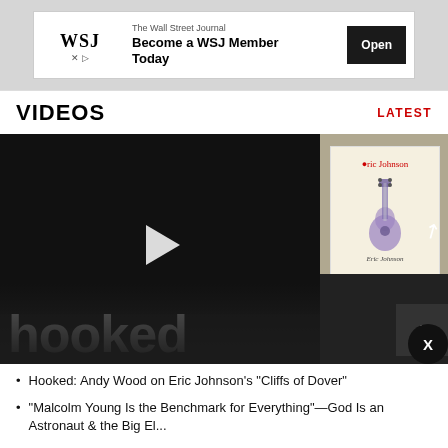[Figure (screenshot): WSJ advertisement banner: The Wall Street Journal logo with text 'Become a WSJ Member Today' and 'Open' button]
VIDEOS
LATEST
[Figure (screenshot): Video thumbnail showing dark background with 'hooked' text in large white letters, a play button, and a sidebar showing an Eric Johnson album cover with a guitar. An arrow annotation and X close button are visible.]
Hooked: Andy Wood on Eric Johnson's "Cliffs of Dover"
"Malcolm Young Is the Benchmark for Everything"—God Is an Astronaut & the Big El...